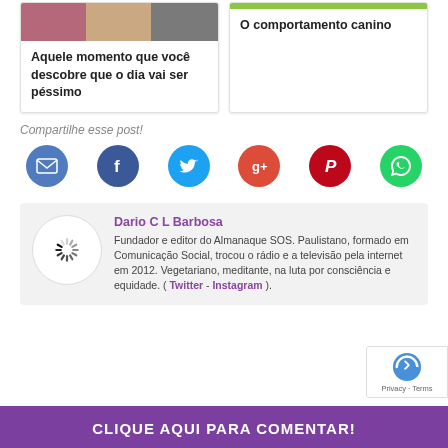[Figure (screenshot): Card with pink/tan/gray colored image strip]
Aquele momento que você descobre que o dia vai ser péssimo
[Figure (screenshot): Card with green line image strip]
O comportamento canino
Compartilhe esse post!
[Figure (infographic): Social media share icons: email, facebook, twitter, google+, pinterest, whatsapp]
Dario C L Barbosa
Fundador e editor do Almanaque SOS. Paulistano, formado em Comunicação Social, trocou o rádio e a televisão pela internet em 2012. Vegetariano, meditante, na luta por consciência e equidade. ( Twitter - Instagram ).
[Figure (other): reCAPTCHA badge with Privacy and Terms]
CLIQUE AQUI PARA COMENTAR!